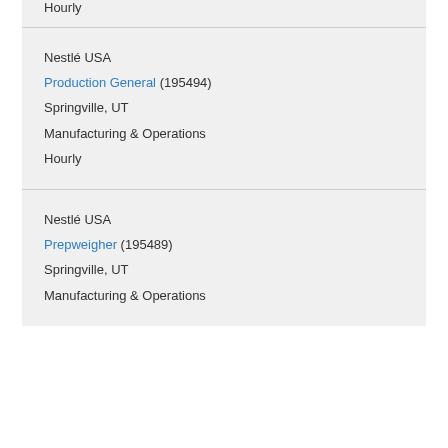Hourly
Nestlé USA
Production General (195494)
Springville, UT
Manufacturing & Operations
Hourly
Nestlé USA
Prepweigher (195489)
Springville, UT
Manufacturing & Operations